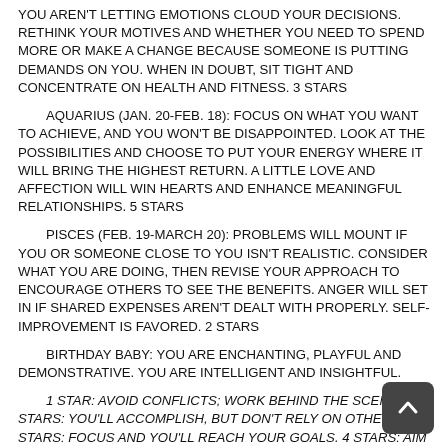YOU AREN'T LETTING EMOTIONS CLOUD YOUR DECISIONS. RETHINK YOUR MOTIVES AND WHETHER YOU NEED TO SPEND MORE OR MAKE A CHANGE BECAUSE SOMEONE IS PUTTING DEMANDS ON YOU. WHEN IN DOUBT, SIT TIGHT AND CONCENTRATE ON HEALTH AND FITNESS. 3 STARS
AQUARIUS (JAN. 20-FEB. 18): FOCUS ON WHAT YOU WANT TO ACHIEVE, AND YOU WON'T BE DISAPPOINTED. LOOK AT THE POSSIBILITIES AND CHOOSE TO PUT YOUR ENERGY WHERE IT WILL BRING THE HIGHEST RETURN. A LITTLE LOVE AND AFFECTION WILL WIN HEARTS AND ENHANCE MEANINGFUL RELATIONSHIPS. 5 STARS
PISCES (FEB. 19-MARCH 20): PROBLEMS WILL MOUNT IF YOU OR SOMEONE CLOSE TO YOU ISN'T REALISTIC. CONSIDER WHAT YOU ARE DOING, THEN REVISE YOUR APPROACH TO ENCOURAGE OTHERS TO SEE THE BENEFITS. ANGER WILL SET IN IF SHARED EXPENSES AREN'T DEALT WITH PROPERLY. SELF-IMPROVEMENT IS FAVORED. 2 STARS
BIRTHDAY BABY: YOU ARE ENCHANTING, PLAYFUL AND DEMONSTRATIVE. YOU ARE INTELLIGENT AND INSIGHTFUL.
1 STAR: AVOID CONFLICTS; WORK BEHIND THE SCENES. 2 STARS: YOU'LL ACCOMPLISH, BUT DON'T RELY ON OTHERS. 3 STARS: FOCUS AND YOU'LL REACH YOUR GOALS. 4 STARS: AIM HIGH; START NEW PROJECTS. 5 STARS: